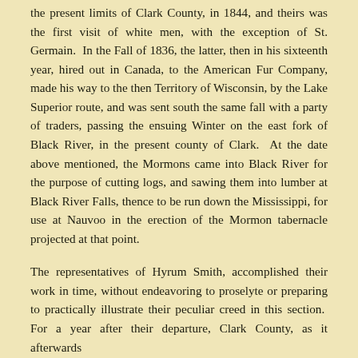the present limits of Clark County, in 1844, and theirs was the first visit of white men, with the exception of St. Germain. In the Fall of 1836, the latter, then in his sixteenth year, hired out in Canada, to the American Fur Company, made his way to the then Territory of Wisconsin, by the Lake Superior route, and was sent south the same fall with a party of traders, passing the ensuing Winter on the east fork of Black River, in the present county of Clark. At the date above mentioned, the Mormons came into Black River for the purpose of cutting logs, and sawing them into lumber at Black River Falls, thence to be run down the Mississippi, for use at Nauvoo in the erection of the Mormon tabernacle projected at that point.
The representatives of Hyrum Smith, accomplished their work in time, without endeavoring to proselyte or preparing to practically illustrate their peculiar creed in this section. For a year after their departure, Clark County, as it afterwards